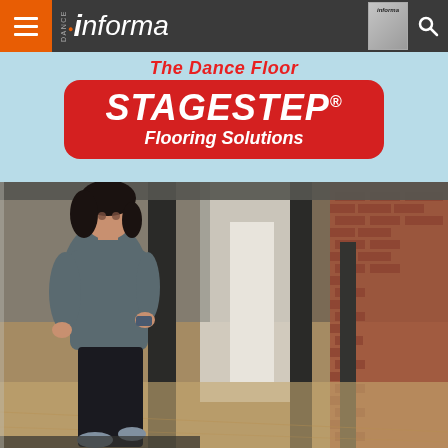Dance Informa — navigation bar with hamburger menu and search icon
The Dance Floor
[Figure (logo): STAGESTEP® Flooring Solutions logo — white italic bold text on red rounded rectangle background]
[Figure (photo): Woman with dark curly hair wearing gray turtleneck sweater and black pants, leaning against a black column in a large open dance studio space with wooden floors, brick wall on the right, and industrial ceiling]